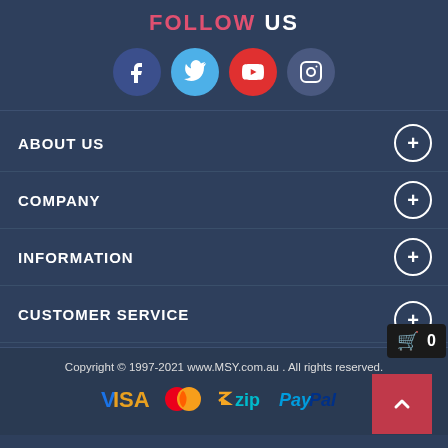FOLLOW US
[Figure (infographic): Four social media icons in circles: Facebook (dark blue), Twitter (light blue), YouTube (red), Instagram (dark purple-blue)]
ABOUT US
COMPANY
INFORMATION
CUSTOMER SERVICE
Copyright © 1997-2021 www.MSY.com.au . All rights reserved.
[Figure (logo): Payment method logos: VISA, MasterCard, zip, PayPal]